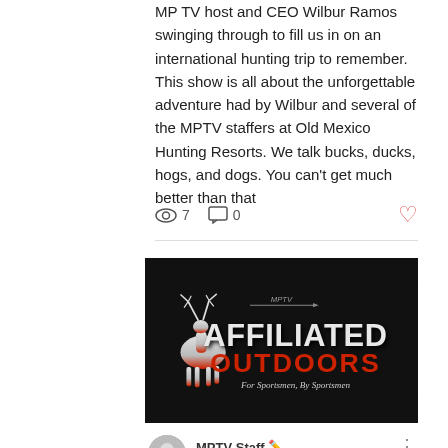MP TV host and CEO Wilbur Ramos swinging through to fill us in on an international hunting trip to remember. This show is all about the unforgettable adventure had by Wilbur and several of the MPTV staffers at Old Mexico Hunting Resorts. We talk bucks, ducks, hogs, and dogs. You can't get much better than that
7 views  0 comments  0 likes
[Figure (logo): Affiliated Outdoors logo — black background with white deer silhouette, 'AFFILIATED' in large white distressed text, 'OUTDOORS' in red, tagline 'For Sportsmen, By Sportsmen' in italic white, MPTV logo above]
MPTV Staff  Jul 8, 2019  ·  1 min